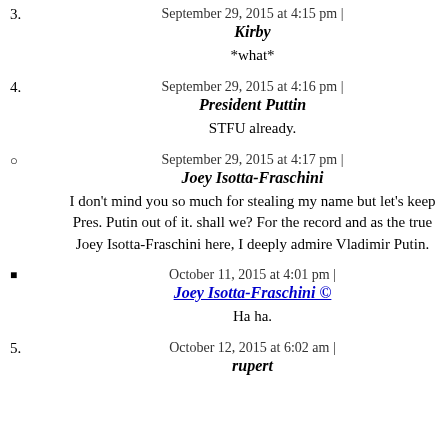3. September 29, 2015 at 4:15 pm | Kirby
*what*
4. September 29, 2015 at 4:16 pm | President Puttin
STFU already.
° September 29, 2015 at 4:17 pm | Joey Isotta-Fraschini
I don't mind you so much for stealing my name but let's keep Pres. Putin out of it. shall we? For the record and as the true Joey Isotta-Fraschini here, I deeply admire Vladimir Putin.
■ October 11, 2015 at 4:01 pm | Joey Isotta-Fraschini ©
Ha ha.
5. October 12, 2015 at 6:02 am | rupert